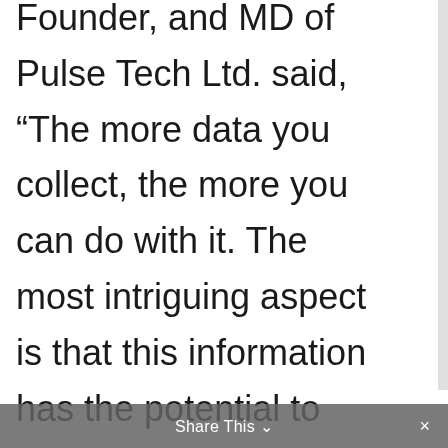Founder, and MD of Pulse Tech Ltd. said, “The more data you collect, the more you can do with it. The most intriguing aspect is that this information has the potential to transform and enhance the entire healthcare business. Our goal is to create a new Digital Healthcare Ecosystem that benefits people the greatest”.
Share This ⌄ ×